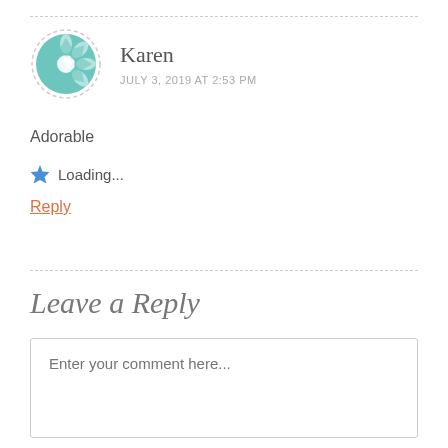[Figure (illustration): Circular avatar with teal geometric mandala/quilt pattern and dashed border]
Karen
JULY 3, 2019 AT 2:53 PM
Adorable
★ Loading...
Reply
Leave a Reply
Enter your comment here...